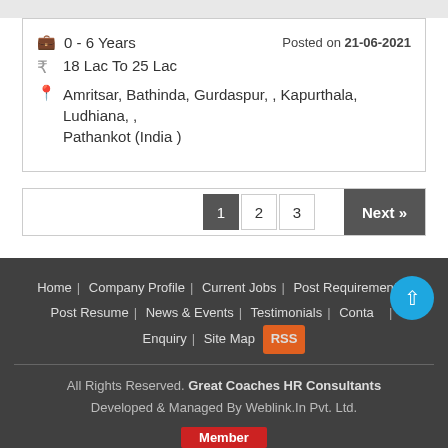0 - 6 Years   Posted on 21-06-2021
18 Lac To 25 Lac
Amritsar, Bathinda, Gurdaspur, , Kapurthala, Ludhiana, , Pathankot (India )
1 2 3 Next »
Home | Company Profile | Current Jobs | Post Requirement | Post Resume | News & Events | Testimonials | Contact | Enquiry | Site Map | RSS
All Rights Reserved. Great Coaches HR Consultants
Developed & Managed By Weblink.In Pvt. Ltd.
Member
PlacementINDIA